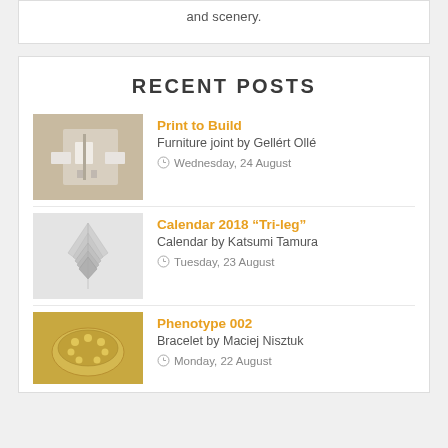and scenery.
RECENT POSTS
Print to Build
Furniture joint by Gellért Ollé
Wednesday, 24 August
Calendar 2018 "Tri-leg"
Calendar by Katsumi Tamura
Tuesday, 23 August
Phenotype 002
Bracelet by Maciej Nisztuk
Monday, 22 August